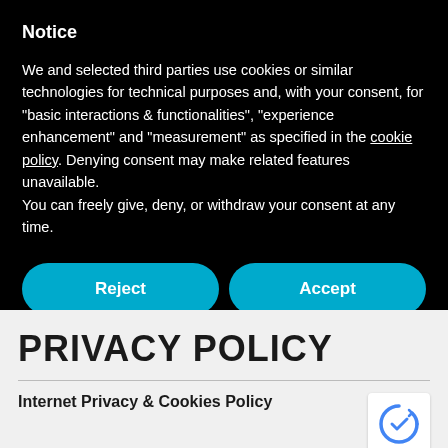Notice
We and selected third parties use cookies or similar technologies for technical purposes and, with your consent, for "basic interactions & functionalities", "experience enhancement" and "measurement" as specified in the cookie policy. Denying consent may make related features unavailable.
You can freely give, deny, or withdraw your consent at any time.
Reject
Accept
Learn more and customize
PRIVACY POLICY
Internet Privacy & Cookies Policy
This is the internet privacy policy for